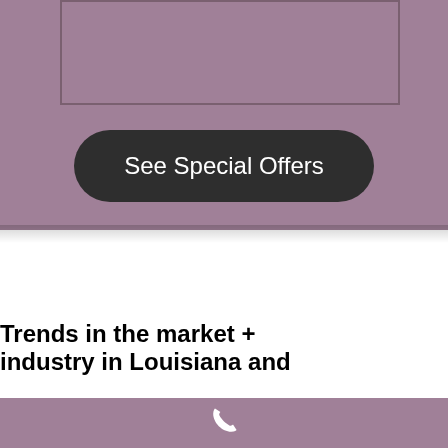[Figure (screenshot): Purple/mauve background section with a rectangular input box outline at the top, and a dark rounded 'See Special Offers' button below it.]
Trends in the market + industry in Louisiana and
[Figure (illustration): White phone/telephone icon on purple/mauve background bar at the bottom of the page.]